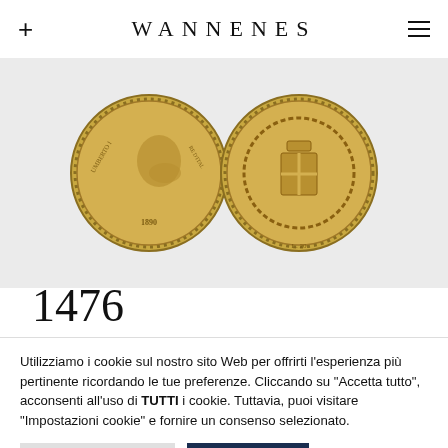WANNENES
[Figure (photo): Two gold coins side by side on a light grey background. The left coin shows a portrait profile (Umberto I, dated 1890). The right coin shows a coat of arms with crown and wreath (L.20).]
1476
Utilizziamo i cookie sul nostro sito Web per offrirti l'esperienza più pertinente ricordando le tue preferenze. Cliccando su "Accetta tutto", acconsenti all'uso di TUTTI i cookie. Tuttavia, puoi visitare "Impostazioni cookie" e fornire un consenso selezionato.
Impostazioni cookie | Accetta tutti